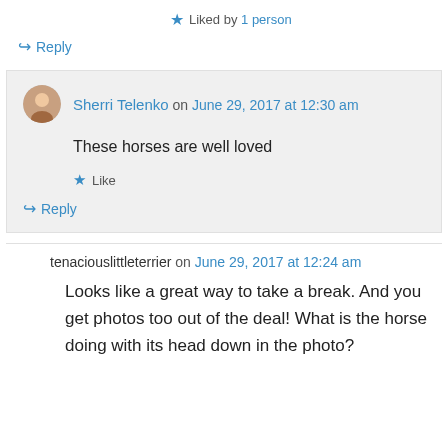★ Liked by 1 person
↳ Reply
Sherri Telenko on June 29, 2017 at 12:30 am
These horses are well loved
★ Like
↳ Reply
tenaciouslittleterrier on June 29, 2017 at 12:24 am
Looks like a great way to take a break. And you get photos too out of the deal! What is the horse doing with its head down in the photo?